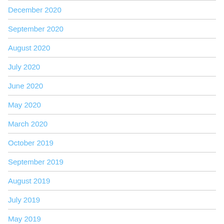December 2020
September 2020
August 2020
July 2020
June 2020
May 2020
March 2020
October 2019
September 2019
August 2019
July 2019
May 2019